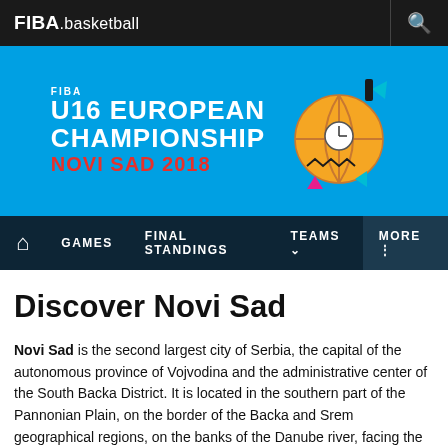FIBA.basketball
[Figure (logo): FIBA U16 European Championship Novi Sad 2018 banner with basketball graphic]
GAMES  FINAL STANDINGS  TEAMS  MORE
Discover Novi Sad
Novi Sad is the second largest city of Serbia, the capital of the autonomous province of Vojvodina and the administrative center of the South Backa District. It is located in the southern part of the Pannonian Plain, on the border of the Backa and Srem geographical regions, on the banks of the Danube river, facing the northern slopes of Fruska Gora mountain.